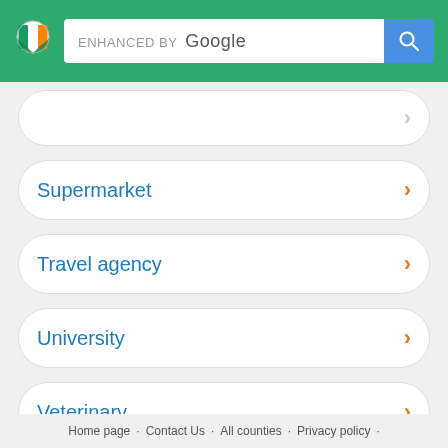[Figure (screenshot): Green header bar with Irish flag logo and Google-enhanced search bar with blue search button]
Supermarket
Travel agency
University
Veterinary
Home page · Contact Us · All counties · Privacy policy ·